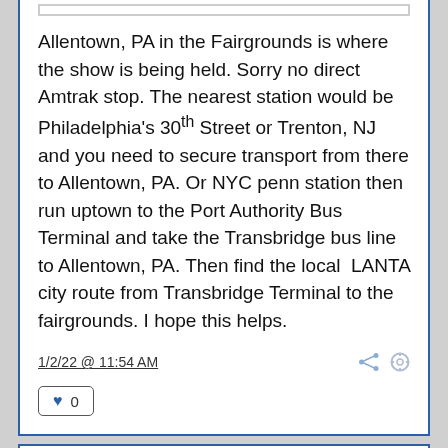Allentown, PA in the Fairgrounds is where the show is being held. Sorry no direct Amtrak stop. The nearest station would be Philadelphia's 30th Street or Trenton, NJ and you need to secure transport from there to Allentown, PA. Or NYC penn station then run uptown to the Port Authority Bus Terminal and take the Transbridge bus line to Allentown, PA. Then find the local LANTA city route from Transbridge Terminal to the fairgrounds. I hope this helps.
1/2/22 @ 11:54 AM